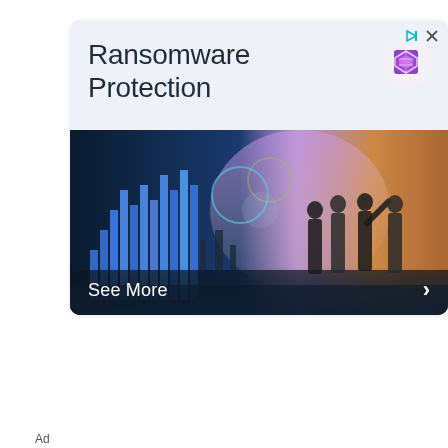[Figure (infographic): Advertisement banner for Ransomware Protection showing a logo and an image of business people with data visualization, with a 'See More' button and navigation arrows]
[Figure (photo): Advertisement showing a luxury apartment building at night with palm trees, with text 'Ultra-Luxury Residences']
Ad